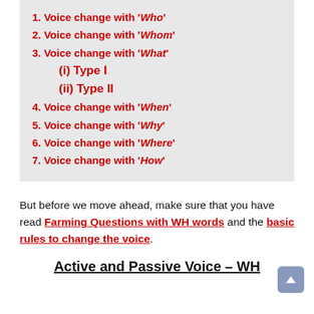1. Voice change with 'Who'
2. Voice change with 'Whom'
3. Voice change with 'What'
(i) Type I
(ii) Type II
4. Voice change with 'When'
5. Voice change with 'Why'
6. Voice change with 'Where'
7. Voice change with 'How'
But before we move ahead, make sure that you have read Farming Questions with WH words and the basic rules to change the voice.
Active and Passive Voice – WH